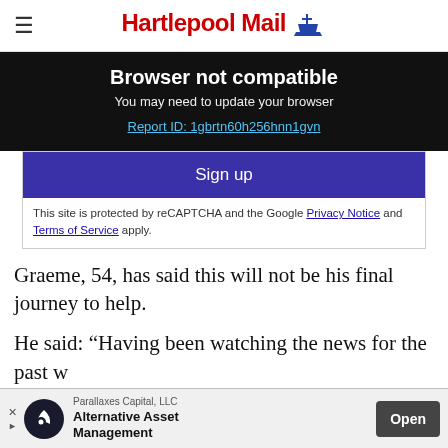Hartlepool Mail
Browser not compatible
You may need to update your browser
Report ID: 1gbrtn60h256hnn1gvn
Sign up
This site is protected by reCAPTCHA and the Google Privacy Notice and Terms of Service apply.
Graeme, 54, has said this will not be his final journey to help.
He said: “Having been watching the news for the past w... of the Ukrainian people and given that t hav...
[Figure (screenshot): Advertisement banner: Parallaxes Capital LLC - Alternative Asset Management with Open button]